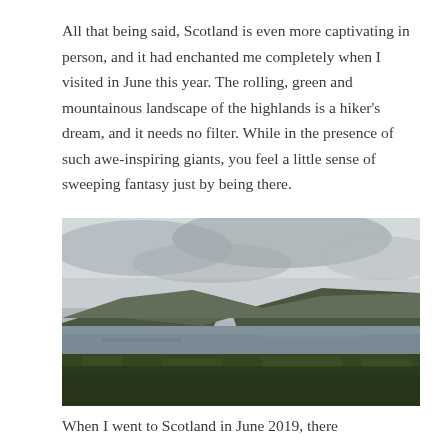All that being said, Scotland is even more captivating in person, and it had enchanted me completely when I visited in June this year. The rolling, green and mountainous landscape of the highlands is a hiker's dream, and it needs no filter. While in the presence of such awe-inspiring giants, you feel a little sense of sweeping fantasy just by being there.
[Figure (photo): A landscape photograph of the Scottish Highlands showing green hills/mountains in the background, a dark loch (lake) in the middle ground, dense green vegetation in the foreground, and an overcast grey sky with clouds.]
When I went to Scotland in June 2019, there